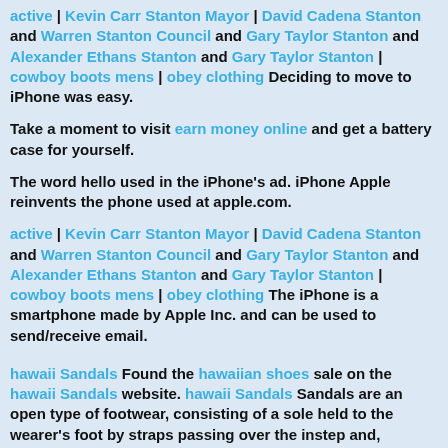active | Kevin Carr Stanton Mayor | David Cadena Stanton and Warren Stanton Council and Gary Taylor Stanton and Alexander Ethans Stanton and Gary Taylor Stanton | cowboy boots mens | obey clothing Deciding to move to iPhone was easy.
Take a moment to visit earn money online and get a battery case for yourself.
The word hello used in the iPhone's ad. iPhone Apple reinvents the phone used at apple.com.
active | Kevin Carr Stanton Mayor | David Cadena Stanton and Warren Stanton Council and Gary Taylor Stanton and Alexander Ethans Stanton and Gary Taylor Stanton | cowboy boots mens | obey clothing The iPhone is a smartphone made by Apple Inc. and can be used to send/receive email.
hawaii Sandals Found the hawaiian shoes sale on the hawaii Sandals website. hawaii Sandals Sandals are an open type of footwear, consisting of a sole held to the wearer's foot by straps passing over the instep and, sometimes, around the ankle. I bought hawaii Sandals